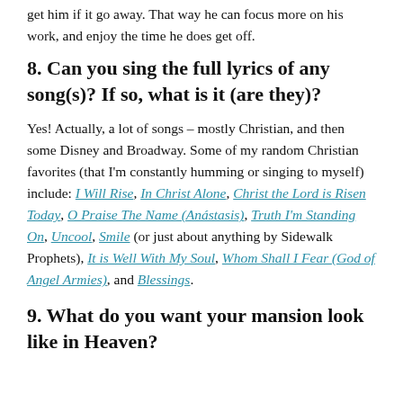get him if it go away. That way he can focus more on his work, and enjoy the time he does get off.
8. Can you sing the full lyrics of any song(s)? If so, what is it (are they)?
Yes! Actually, a lot of songs – mostly Christian, and then some Disney and Broadway. Some of my random Christian favorites (that I'm constantly humming or singing to myself) include: I Will Rise, In Christ Alone, Christ the Lord is Risen Today, O Praise The Name (Anástasis), Truth I'm Standing On, Uncool, Smile (or just about anything by Sidewalk Prophets), It is Well With My Soul, Whom Shall I Fear (God of Angel Armies), and Blessings.
9. What do you want your mansion look like in Heaven?